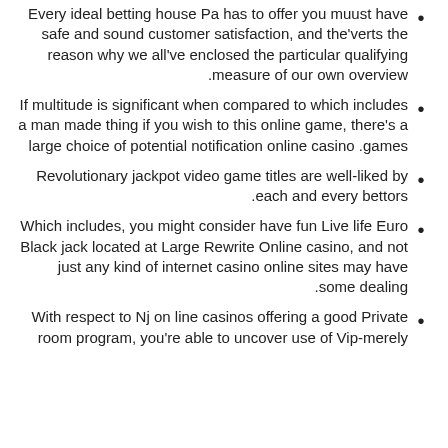Every ideal betting house Pa has to offer you muust have safe and sound customer satisfaction, and the'verts the reason why we all've enclosed the particular qualifying measure of our own overview.
If multitude is significant when compared to which includes a man made thing if you wish to this online game, there's a large choice of potential notification online casino games.
Revolutionary jackpot video game titles are well-liked by each and every bettors.
Which includes, you might consider have fun Live life Euro Black jack located at Large Rewrite Online casino, and not just any kind of internet casino online sites may have some dealing.
With respect to Nj on line casinos offering a good Private room program, you're able to uncover use of Vip-merely availabilities inside the studio it covers a lot of on line casino sites.